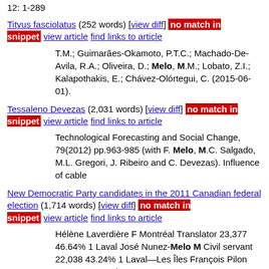12: 1-289
Tityus fasciolatus (252 words) [view diff] no match in snippet view article find links to article
T.M.; Guimarães-Okamoto, P.T.C.; Machado-De-Avila, R.A.; Oliveira, D.; Melo, M.M.; Lobato, Z.I.; Kalapothakis, E.; Chávez-Olórtegui, C. (2015-06-01).
Tessaleno Devezas (2,031 words) [view diff] no match in snippet view article find links to article
Technological Forecasting and Social Change, 79(2012) pp.963-985 (with F. Melo, M.C. Salgado, M.L. Gregori, J. Ribeiro and C. Devezas). Influence of cable
New Democratic Party candidates in the 2011 Canadian federal election (1,714 words) [view diff] no match in snippet view article find links to article
Hélène Laverdière F Montréal Translator 23,377 46.64% 1 Laval José Nunez-Melo M Civil servant 22,038 43.24% 1 Laval—Les Îles François Pilon 2004, 2006 and